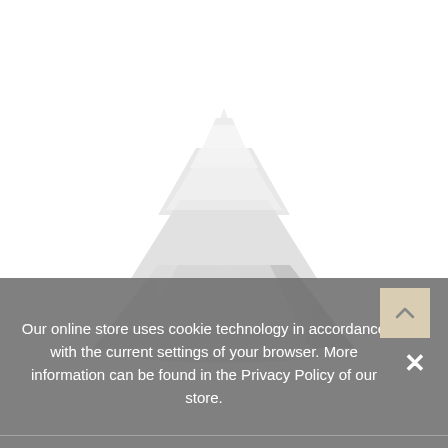[Figure (photo): A white ceramic or porcelain tree-shaped decorative object (resembling a stylized Christmas tree or arrow/chevron stacked shape) photographed against a white background. The object is blurry/soft-focused. A beige/tan square scroll-to-top button with an upward chevron arrow is visible in the lower right of the image area.]
Our online store uses cookie technology in accordance with the current settings of your browser. More information can be found in the Privacy Policy of our store.